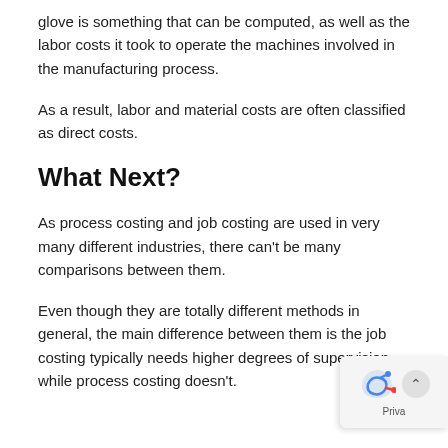glove is something that can be computed, as well as the labor costs it took to operate the machines involved in the manufacturing process.
As a result, labor and material costs are often classified as direct costs.
What Next?
As process costing and job costing are used in very many different industries, there can't be many comparisons between them.
Even though they are totally different methods in general, the main difference between them is that job costing typically needs higher degrees of supervision, while process costing doesn't.